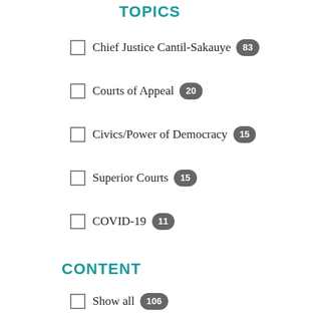TOPICS
Chief Justice Cantil-Sakauye 83
Courts of Appeal 20
Civics/Power of Democracy 15
Superior Courts 15
COVID-19 11
CONTENT
Show all 106
News 106
NEWS TYPE
News Release 74